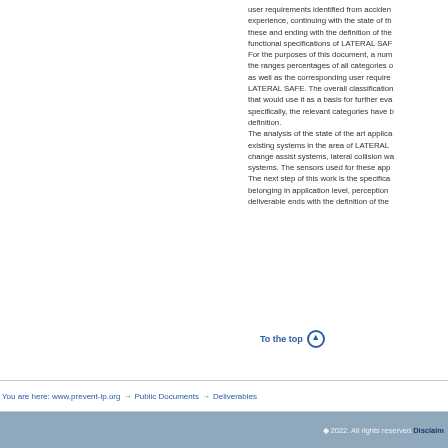user requirements identified from accident experience, continuing with the state of these and ending with the definition of the functional specifications of LATERAL SAF For the purposes of this document, a num the ranges percentages of all categories of as well as the corresponding user require LATERAL SAFE. The overall classification that would use it as a basis for further eva specifically, the relevant categories have b definition.
The analysis of the state of the art applica existing systems in the area of LATERAL change assist systems, lateral collision wa systems. The sensors used for these app The next step of this work is the specifica belonging in application level, perception deliverable ends with the definition of the
To the top
You are here: www.prevent-ip.org → Public Documents → Deliverables
© 2022. All rights reserved. Disclaim...